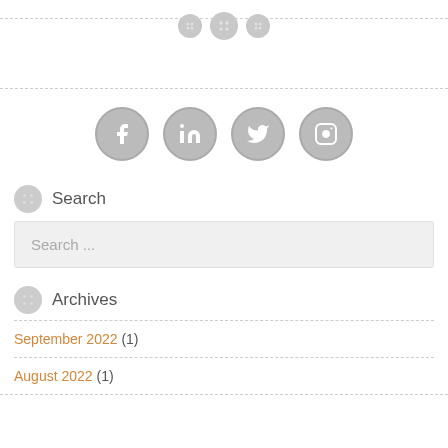[Figure (illustration): Three decorative button icons arranged horizontally near a dashed horizontal line at the top]
[Figure (illustration): Four social media icons (Facebook, LinkedIn, Twitter, Instagram) as grey circular buttons]
Search
Search ...
Archives
September 2022 (1)
August 2022 (1)